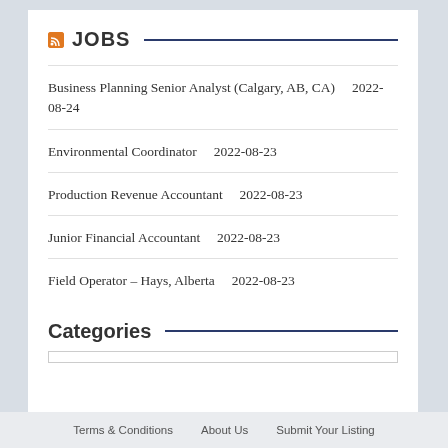JOBS
Business Planning Senior Analyst (Calgary, AB, CA)    2022-08-24
Environmental Coordinator    2022-08-23
Production Revenue Accountant    2022-08-23
Junior Financial Accountant    2022-08-23
Field Operator – Hays, Alberta    2022-08-23
Categories
Terms & Conditions    About Us    Submit Your Listing